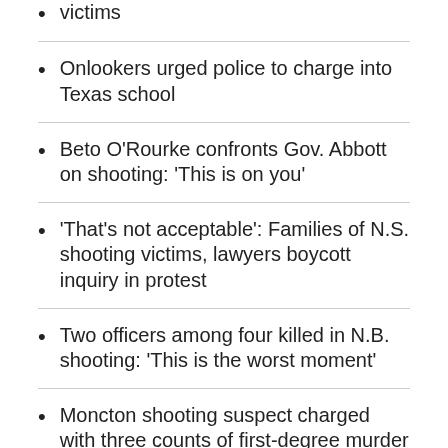victims
Onlookers urged police to charge into Texas school
Beto O'Rourke confronts Gov. Abbott on shooting: 'This is on you'
'That's not acceptable': Families of N.S. shooting victims, lawyers boycott inquiry in protest
Two officers among four killed in N.B. shooting: 'This is the worst moment'
Moncton shooting suspect charged with three counts of first-degree murder
RELATED LINKS
RCMP firearms forms